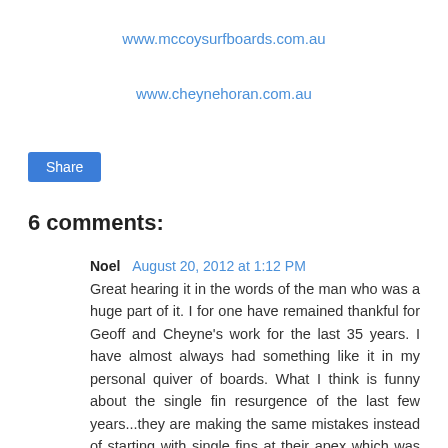www.mccoysurfboards.com.au
www.cheynehoran.com.au
Share
6 comments:
Noel  August 20, 2012 at 1:12 PM
Great hearing it in the words of the man who was a huge part of it. I for one have remained thankful for Geoff and Cheyne's work for the last 35 years. I have almost always had something like it in my personal quiver of boards. What I think is funny about the single fin resurgence of the last few years...they are making the same mistakes instead of starting with single fins at their apex which was the Zaps. Thanks Board collector for putting more of this information